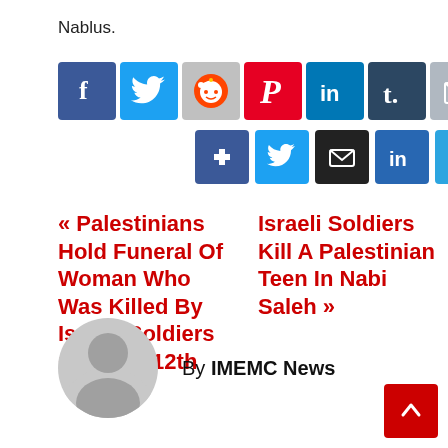Nablus.
[Figure (infographic): Row of social media share buttons: Facebook, Twitter, Reddit, Pinterest, LinkedIn, Tumblr, Email]
[Figure (infographic): Second row of social media share buttons: Facebook, Twitter, Email, LinkedIn, Telegram, Pinterest]
« Palestinians Hold Funeral Of Woman Who Was Killed By Israeli Soldiers On June 12th
Israeli Soldiers Kill A Palestinian Teen In Nabi Saleh »
[Figure (illustration): Generic user avatar placeholder circle with person silhouette]
By IMEMC News